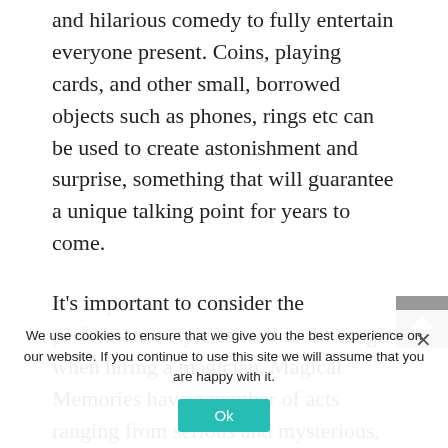and hilarious comedy to fully entertain everyone present. Coins, playing cards, and other small, borrowed objects such as phones, rings etc can be used to create astonishment and surprise, something that will guarantee a unique talking point for years to come.
It's important to consider the performance style as well as the magic when hiring a magician. Magical Memories have a number of acts ranging from serious and mysterious, to light-hearted and hilariously funny. All however are polite towards guests, family-friendly and will certainly appeal to audiences of all ages.
The entertainment presented will prove to be excellent fun and everyone can get involved –
We use cookies to ensure that we give you the best experience on our website. If you continue to use this site we will assume that you are happy with it.